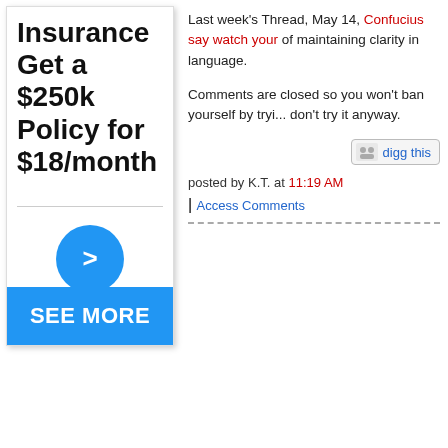[Figure (advertisement): Insurance advertisement showing '$250k Policy for $18/month' with a blue circle arrow button and a 'SEE MORE' blue button at the bottom]
Last week's Thread, May 14, Confucius say watch your language of maintaining clarity in language.
Comments are closed so you won't ban yourself by trying to. don't try it anyway.
digg this
posted by K.T. at 11:19 AM
| Access Comments